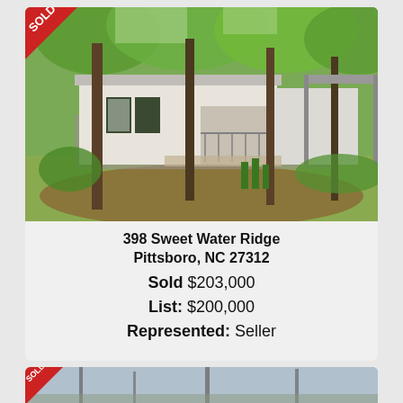[Figure (photo): Exterior photo of a single-story home with green shutters, covered porch, deck, surrounded by tall trees with green foliage. A 'SOLD' ribbon banner in red is visible in the top-left corner.]
398 Sweet Water Ridge
Pittsboro, NC 27312
Sold $203,000
List: $200,000
Represented: Seller
[Figure (photo): Partial view of a second property listing with a sold ribbon in the top-left corner. Trees are visible in the background.]